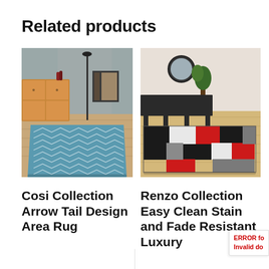Related products
[Figure (photo): Cosi Collection Arrow Tail Design Area Rug - a blue geometric chevron/arrow-tail patterned area rug displayed in a room setting with wooden furniture]
Cosi Collection Arrow Tail Design Area Rug
[Figure (photo): Renzo Collection Easy Clean Stain and Fade Resistant Luxury area rug - a colorful geometric patchwork rug in red, black, white and grey squares displayed in a room setting]
Renzo Collection Easy Clean Stain and Fade Resistant Luxury